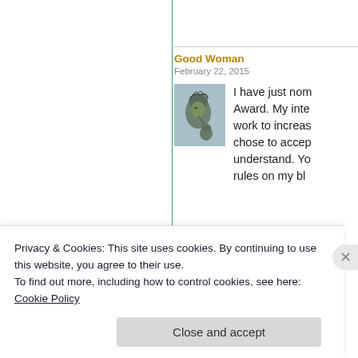Good Woman
February 22, 2015
[Figure (photo): Small thumbnail photo of a stone or bronze statue of a woman's head with ornate hair decoration, looking downward.]
I have just nom Award. My inte work to increas chose to accep understand. Yo rules on my bl
★ Liked by 1 per
Privacy & Cookies: This site uses cookies. By continuing to use this website, you agree to their use.
To find out more, including how to control cookies, see here: Cookie Policy
Close and accept